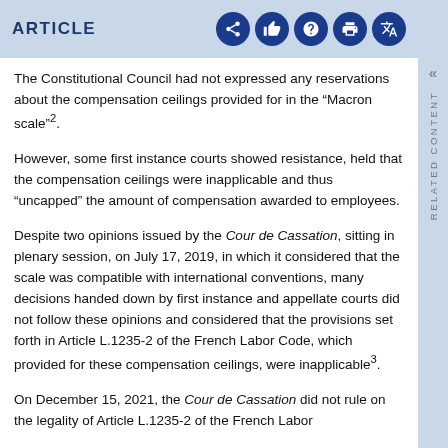ARTICLE
The Constitutional Council had not expressed any reservations about the compensation ceilings provided for in the "Macron scale"2.
However, some first instance courts showed resistance, held that the compensation ceilings were inapplicable and thus "uncapped" the amount of compensation awarded to employees.
Despite two opinions issued by the Cour de Cassation, sitting in plenary session, on July 17, 2019, in which it considered that the scale was compatible with international conventions, many decisions handed down by first instance and appellate courts did not follow these opinions and considered that the provisions set forth in Article L.1235-2 of the French Labor Code, which provided for these compensation ceilings, were inapplicable3.
On December 15, 2021, the Cour de Cassation did not rule on the legality of Article L.1235-2 of the French Labor...